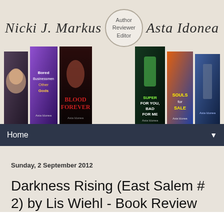[Figure (illustration): Blog header banner with author names 'Nicki J. Markus' and 'Asta Idonea' in cursive script, a circular badge reading 'Author Reviewer Editor', and a row of book covers displayed at the bottom on a beige background.]
Home
Sunday, 2 September 2012
Darkness Rising (East Salem # 2) by Lis Wiehl - Book Review